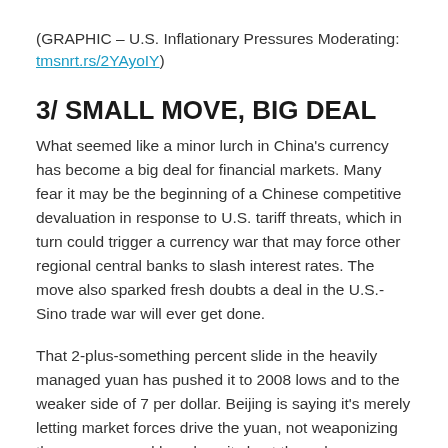(GRAPHIC – U.S. Inflationary Pressures Moderating: tmsnrt.rs/2YAyoIY)
3/ SMALL MOVE, BIG DEAL
What seemed like a minor lurch in China's currency has become a big deal for financial markets. Many fear it may be the beginning of a Chinese competitive devaluation in response to U.S. tariff threats, which in turn could trigger a currency war that may force other regional central banks to slash interest rates. The move also sparked fresh doubts a deal in the U.S.-Sino trade war will ever get done.
That 2-plus-something percent slide in the heavily managed yuan has pushed it to 2008 lows and to the weaker side of 7 per dollar. Beijing is saying it's merely letting market forces drive the yuan, not weaponizing the currency, and has done its best through open market